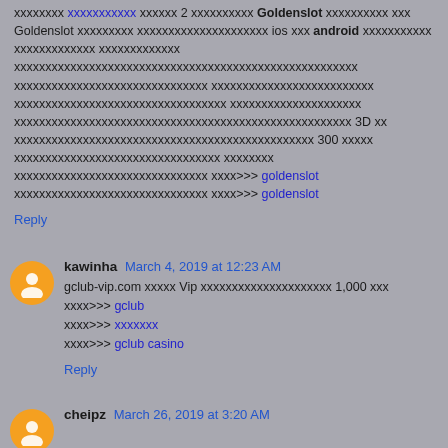xxxxxxxx xxxxxxxxxxx xxxxxx 2 xxxxxxxxxx Goldenslot xxx xxx Goldenslot xxxxxxxxx xxxxxxxxxxxxxxxxxxxxx ios xxx android xxxxxxxxxxx xxxxxxxxxxxxx xxxxxxxxxxxxx xxxxxxxxxxxxxxxxxxxxxxxxxxxxxxxxxxxxxxxxxxxxxxxxxxxxxxx xxxxxxxxxxxxxxxxxxxxxxxxxxxxxxx xxxxxxxxxxxxxxxxxxxxxxxxxx xxxxxxxxxxxxxxxxxxxxxxxxxxxxxxxxxx xxxxxxxxxxxxxxxxxxxxx xxxxxxxxxxxxxxxxxxxxxxxxxxxxxxxxxxxxxxxxxxxxxxxxxxxxxx 3D xx xxxxxxxxxxxxxxxxxxxxxxxxxxxxxxxxxxxxxxxxxxxxxxxx 300 xxxxx xxxxxxxxxxxxxxxxxxxxxxxxxxxxxxxxx xxxxxxxx xxxxxxxxxxxxxxxxxxxxxxxxxxxxxxx xxxx>>> goldenslot xxxxxxxxxxxxxxxxxxxxxxxxxxxxxxx xxxx>>> goldenslot Reply
kawinha March 4, 2019 at 12:23 AM gclub-vip.com xxxxx Vip xxxxxxxxxxxxxxxxxxxxx 1,000 xxx xxxx>>> gclub xxxx>>> xxxxxxx xxxx>>> gclub casino Reply
cheipz March 26, 2019 at 3:20 AM